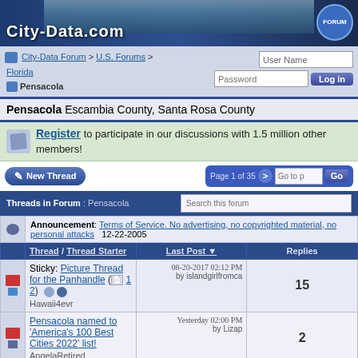[Figure (screenshot): City-Data.com website header banner with cityscape background and FORUM badge]
City-Data Forum > U.S. Forums > Florida > Pensacola
Pensacola Escambia County, Santa Rosa County
Register to participate in our discussions with 1.5 million other members!
Page 1 of 35
Threads in Forum : Pensacola
Announcement: Terms of Service. No advertising, no copyrighted material, no personal attacks  12-22-2005
|  | Thread / Thread Starter | Last Post | Replies |
| --- | --- | --- | --- |
|  | Sticky: Picture Thread for the Panhandle (1 2)
Hawaii4evr | 08-20-2017 02:12 PM
by islandgirlfromca | 15 |
|  | Pensacola named to 'America's 100 Best Cities 2022' list!
AngelaRetired | Yesterday 02:00 PM
by Lizap | 2 |
|  | 'Kites on the Coast' |  |  |